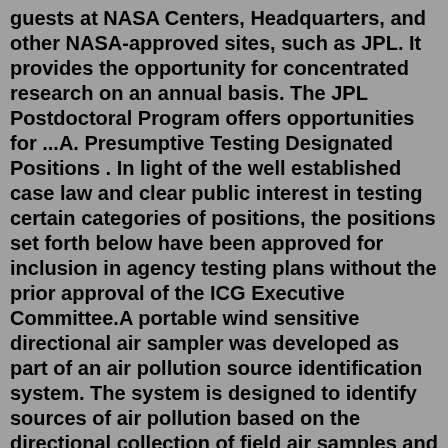guests at NASA Centers, Headquarters, and other NASA-approved sites, such as JPL. It provides the opportunity for concentrated research on an annual basis. The JPL Postdoctoral Program offers opportunities for ...A. Presumptive Testing Designated Positions . In light of the well established case law and clear public interest in testing certain categories of positions, the positions set forth below have been approved for inclusion in agency testing plans without the prior approval of the ICG Executive Committee.A portable wind sensitive directional air sampler was developed as part of an air pollution source identification system. The system is designed to identify sources of air pollution based on the directional collection of field air samples and their analysis for TSP and trace element characteristics. Sources can be identified by analyzing the data on the basis of pattern recognition concepts.IAC-07-D2.6.04 - Integrated Testing Approaches for the NASA Ares I Crew Launch Vehicle two position tri-propellant stand capable of